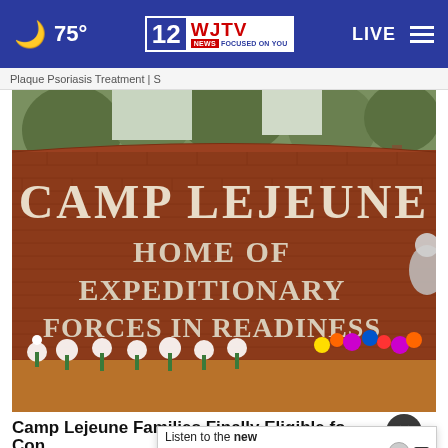75° | WJTV 12 News Focused On You | LIVE
Plaque Psoriasis Treatment | S
[Figure (photo): Brick entrance sign reading CAMP LEJEUNE HOME OF EXPEDITIONARY FORCES IN READINESS, with flower memorials at the base]
Camp Lejeune Families Finally Eligible fo...
camp...
Listen to the new podcast about adoption. Adopt US Kids